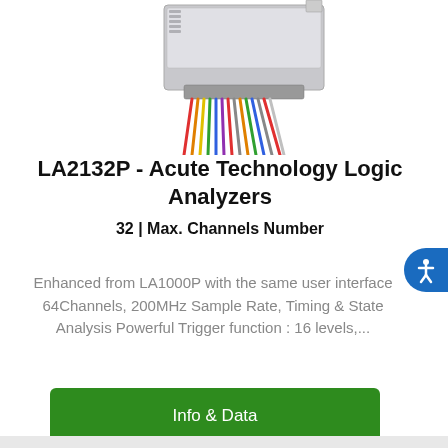[Figure (photo): Product photo of LA2132P logic analyzer device with colorful ribbon cables connected, shown against white background, partially cropped at top]
LA2132P - Acute Technology Logic Analyzers
32 | Max. Channels Number
Enhanced from LA1000P with the same user interface 64Channels, 200MHz Sample Rate, Timing & State Analysis Powerful Trigger function : 16 levels,...
Info & Data